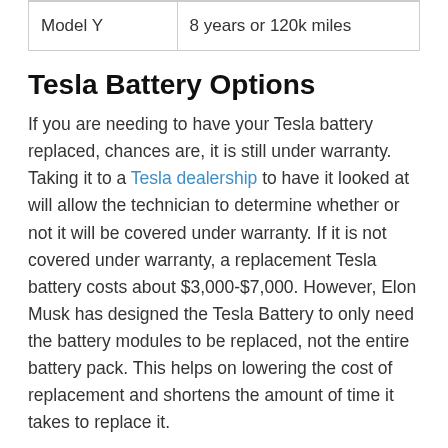| Model Y | 8 years or 120k miles |
Tesla Battery Options
If you are needing to have your Tesla battery replaced, chances are, it is still under warranty. Taking it to a Tesla dealership to have it looked at will allow the technician to determine whether or not it will be covered under warranty. If it is not covered under warranty, a replacement Tesla battery costs about $3,000-$7,000. However, Elon Musk has designed the Tesla Battery to only need the battery modules to be replaced, not the entire battery pack. This helps on lowering the cost of replacement and shortens the amount of time it takes to replace it.